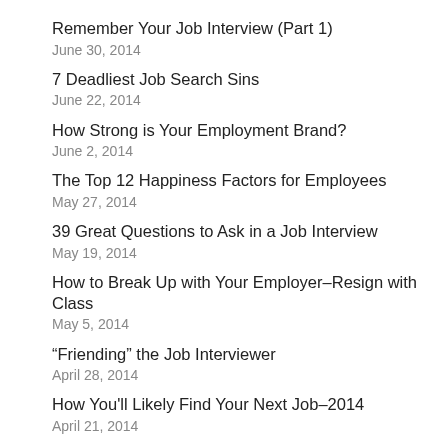Remember Your Job Interview (Part 1)
June 30, 2014
7 Deadliest Job Search Sins
June 22, 2014
How Strong is Your Employment Brand?
June 2, 2014
The Top 12 Happiness Factors for Employees
May 27, 2014
39 Great Questions to Ask in a Job Interview
May 19, 2014
How to Break Up with Your Employer–Resign with Class
May 5, 2014
“Friending” the Job Interviewer
April 28, 2014
How You'll Likely Find Your Next Job–2014
April 21, 2014